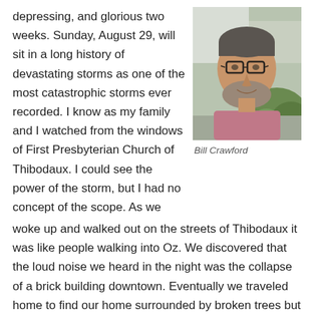depressing, and glorious two weeks. Sunday, August 29, will sit in a long history of devastating storms as one of the most catastrophic storms ever recorded. I know as my family and I watched from the windows of First Presbyterian Church of Thibodaux. I could see the power of the storm, but I had no concept of the scope. As we woke up and walked out on the streets of Thibodaux it was like people walking into Oz. We discovered that the loud noise we heard in the night was the collapse of a brick building downtown. Eventually we traveled home to find our home surrounded by broken trees but mostly intact.
[Figure (photo): Portrait photo of Bill Crawford, a middle-aged man with glasses and a beard wearing a pink/mauve shirt, outdoors]
Bill Crawford
It was typical of Thibodaux that we immediately started clearing trees. We spent an hour cutting a hole through my neighbor's